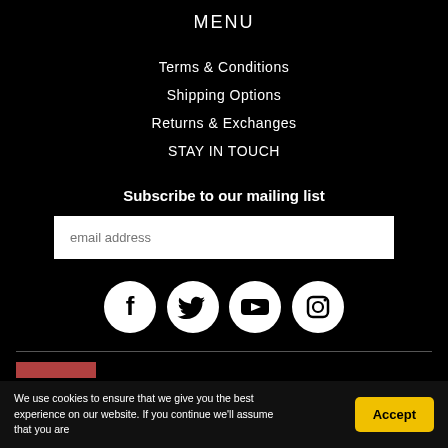MENU
Terms & Conditions
Shipping Options
Returns & Exchanges
STAY IN TOUCH
Subscribe to our mailing list
email address
[Figure (infographic): Social media icons: Facebook, Twitter, YouTube, Instagram — white icons on black circular backgrounds]
We use cookies to ensure that we give you the best experience on our website. If you continue we'll assume that you are
Accept